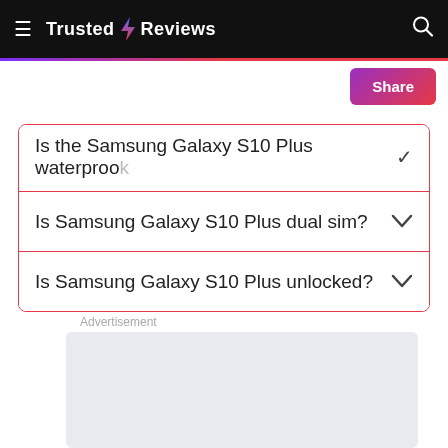Trusted Reviews
Is the Samsung Galaxy S10 Plus waterproof?
Is Samsung Galaxy S10 Plus dual sim?
Is Samsung Galaxy S10 Plus unlocked?
Advertisement